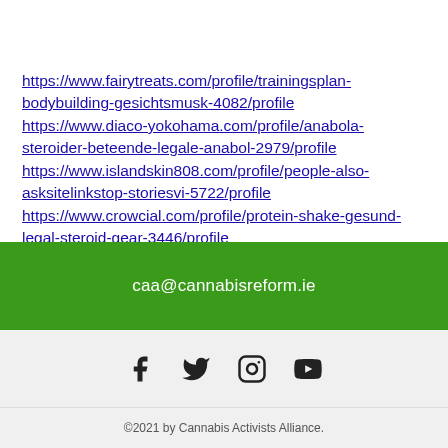https://www.fairytreats.com/profile/trainingsplan-bodybuilding-gesichtsmusk-4082/profile
https://www.diaco-yokohama.com/profile/anabola-steroider-beteende-legale-anabol-2979/profile
https://www.islandskin808.com/profile/people-also-asksitelinkstop-storiesvi-5722/profile
https://www.crowcial.com/profile/protein-shake-gesund-legal-steroid-gear-3446/profile
caa@cannabisreform.ie
©2021 by Cannabis Activists Alliance.